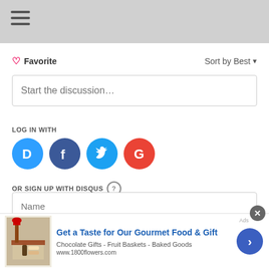[Figure (screenshot): Top gray navigation bar with hamburger menu icon]
♡ Favorite
Sort by Best ▾
Start the discussion…
LOG IN WITH
[Figure (illustration): Four social login icons: Disqus (blue D), Facebook (dark blue F), Twitter (light blue bird), Google (red G)]
OR SIGN UP WITH DISQUS ?
Name
Be the first to comment.
[Figure (illustration): Advertisement banner: 1-800-Flowers gourmet food gift basket ad with text 'Get a Taste for Our Gourmet Food & Gift', 'Chocolate Gifts - Fruit Baskets - Baked Goods', 'www.1800flowers.com']